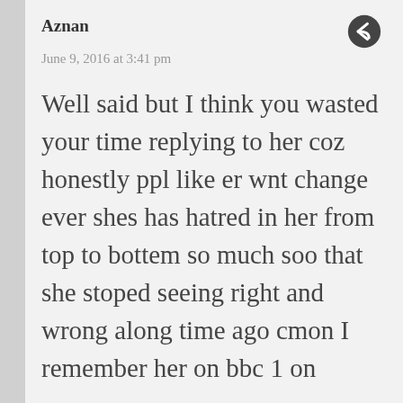Aznan
June 9, 2016 at 3:41 pm
Well said but I think you wasted your time replying to her coz honestly ppl like er wnt change ever shes has hatred in her from top to bottem so much soo that she stoped seeing right and wrong along time ago cmon I remember her on bbc 1 on